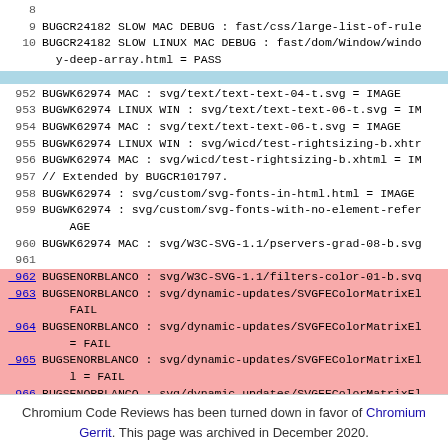8
9 BUGCR24182 SLOW MAC DEBUG : fast/css/large-list-of-rule
10 BUGCR24182 SLOW LINUX MAC DEBUG : fast/dom/Window/windo
   y-deep-array.html = PASS
952 BUGWK62974 MAC : svg/text/text-text-04-t.svg = IMAGE
953 BUGWK62974 LINUX WIN : svg/text/text-text-06-t.svg = IM
954 BUGWK62974 MAC : svg/text/text-text-06-t.svg = IMAGE
955 BUGWK62974 LINUX WIN : svg/wicd/test-rightsizing-b.xhtr
956 BUGWK62974 MAC : svg/wicd/test-rightsizing-b.xhtml = IM
957 // Extended by BUGCR101797.
958 BUGWK62974 : svg/custom/svg-fonts-in-html.html = IMAGE
959 BUGWK62974 : svg/custom/svg-fonts-with-no-element-refer
    AGE
960 BUGWK62974 MAC : svg/W3C-SVG-1.1/pservers-grad-08-b.svg
961
962 BUGSENORBLANCO : svg/W3C-SVG-1.1/filters-color-01-b.svg
963 BUGSENORBLANCO : svg/dynamic-updates/SVGFEColorMatrixEl
    FAIL
964 BUGSENORBLANCO : svg/dynamic-updates/SVGFEColorMatrixEl
    = FAIL
965 BUGSENORBLANCO : svg/dynamic-updates/SVGFEColorMatrixEl
    l = FAIL
966 BUGSENORBLANCO : svg/dynamic-updates/SVGFEColorMatrixEl
    = FAIL
967
968 BUGSENORBLANCO : svg/filters/feColorMatrix-offset.svg =
969 BUGSENORBLANCO : svg/filters/feColorMatrix-saturate.svg
Chromium Code Reviews has been turned down in favor of Chromium Gerrit. This page was archived in December 2020.